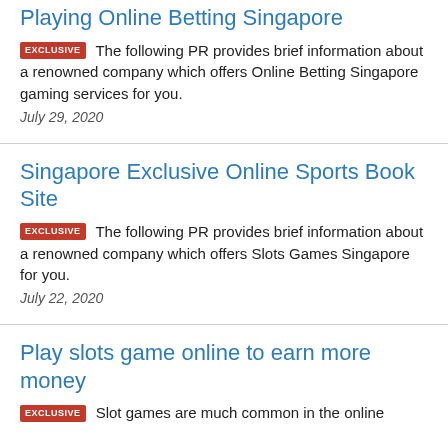Playing Online Betting Singapore
EXCLUSIVE The following PR provides brief information about a renowned company which offers Online Betting Singapore gaming services for you.
July 29, 2020
Singapore Exclusive Online Sports Book Site
EXCLUSIVE The following PR provides brief information about a renowned company which offers Slots Games Singapore for you.
July 22, 2020
Play slots game online to earn more money
EXCLUSIVE Slot games are much common in the online